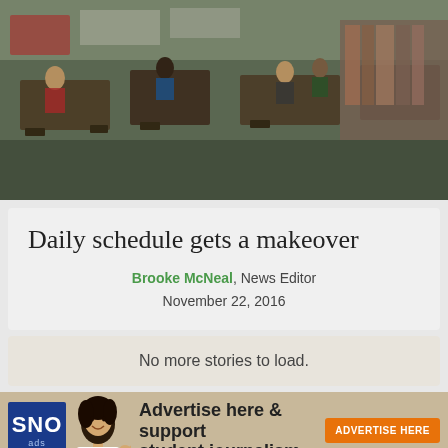[Figure (photo): Overhead/elevated view of a school library or media center with students sitting at tables and working, bookshelves visible in background]
Daily schedule gets a makeover
Brooke McNeal, News Editor
November 22, 2016
No more stories to load.
[Figure (infographic): SNO Ads advertisement banner: SNO logo in blue, woman pointing, text 'Advertise here & support student journalism', orange 'ADVERTISE HERE' button]
© 2022 • Advertise • FLEX Pro WordPress Theme by SNO • Log in